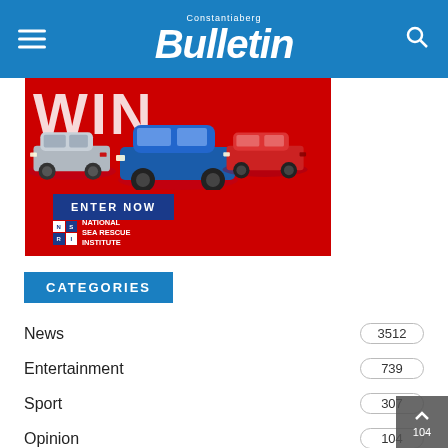Constantiaberg Bulletin
[Figure (photo): Advertisement banner for a WIN competition in partnership with National Sea Rescue Institute, showing three Mitsubishi SUVs on a red background with an ENTER NOW button]
CATEGORIES
News 3512
Entertainment 739
Sport 307
Opinion 104